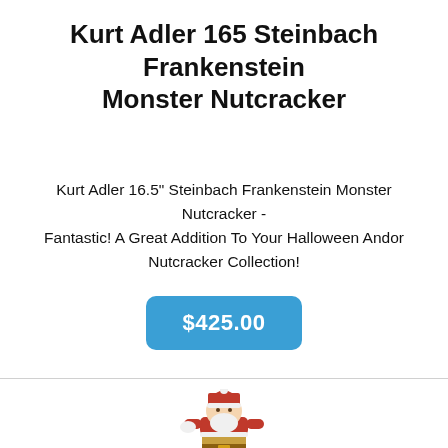Kurt Adler 165 Steinbach Frankenstein Monster Nutcracker
Kurt Adler 16.5" Steinbach Frankenstein Monster Nutcracker - Fantastic! A Great Addition To Your Halloween Andor Nutcracker Collection!
$425.00
[Figure (illustration): Partial view of a Santa Claus nutcracker figurine with red hat and white beard, cropped at bottom of page]